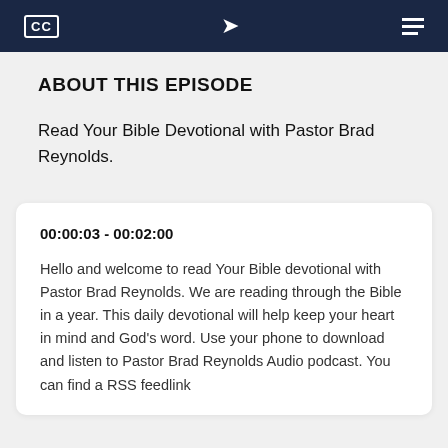[Figure (screenshot): Dark navy top bar with CC subtitle icon, share icon, and menu icon on white/navy background]
ABOUT THIS EPISODE
Read Your Bible Devotional with Pastor Brad Reynolds.
00:00:03 - 00:02:00
Hello and welcome to read Your Bible devotional with Pastor Brad Reynolds. We are reading through the Bible in a year. This daily devotional will help keep your heart in mind and God's word. Use your phone to download and listen to Pastor Brad Reynolds Audio podcast. You can find a RSS feedlink